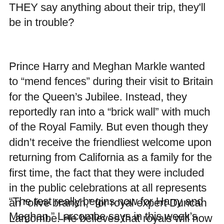THEY say anything about their trip, they'll be in trouble?
Prince Harry and Meghan Markle wanted to "mend fences" during their visit to Britain for the Queen's Jubilee. Instead, they reportedly ran into a "brick wall" with much of the Royal Family. But even though they didn't receive the friendliest welcome upon returning from California as a family for the first time, the fact that they were included in the public celebrations at all represents an "olive branch," for royal expert Duncan Larcombe. He believes that royals will now be on tenterhooks waiting to see whether the Sussexes will use their visit to the U.K. for content purposes.
"The test really begins now for Harry and Meghan," Larcombe says in this week's Closer. "They have